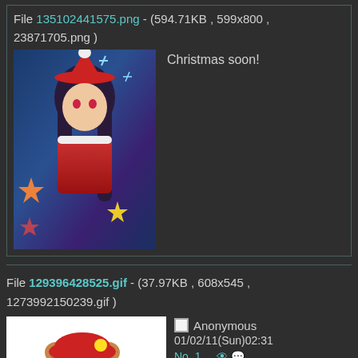File 135102441575.png - (594.71KB , 599x800 , 23871705.png )
Christmas soon!
[Figure (illustration): Anime girl in red Santa outfit with long dark hair, surrounded by colorful stars on a blue background]
File 129396428525.gif - (37.97KB , 608x545 , 1273992150239.gif )
[Figure (illustration): Cartoon bear character wearing a red beret and dark visor with a green cape/wrap]
Anonymous 01/02/11(Sun)02:31 No. 1 [Reply] [Edit]